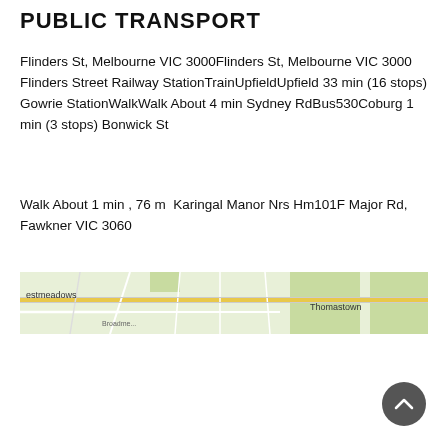PUBLIC TRANSPORT
Flinders St, Melbourne VIC 3000Flinders St, Melbourne VIC 3000  Flinders Street Railway StationTrainUpfieldUpfield 33 min (16 stops) Gowrie StationWalkWalk About 4 min Sydney RdBus530Coburg 1 min (3 stops) Bonwick St
Walk About 1 min , 76 m  Karingal Manor Nrs Hm101F Major Rd, Fawkner VIC 3060
[Figure (map): A map snippet showing suburbs including estmeadows and Thomastown with road network visible.]